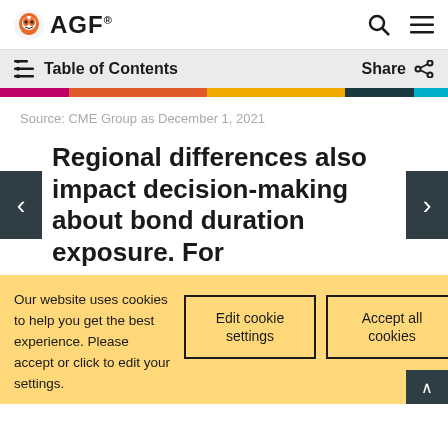AGF — Table of Contents | Share
Source: CME Group as December 1, 2021
Regional differences also impact decision-making about bond duration exposure. For
Our website uses cookies to help you get the best experience. Please accept or click to edit your settings.